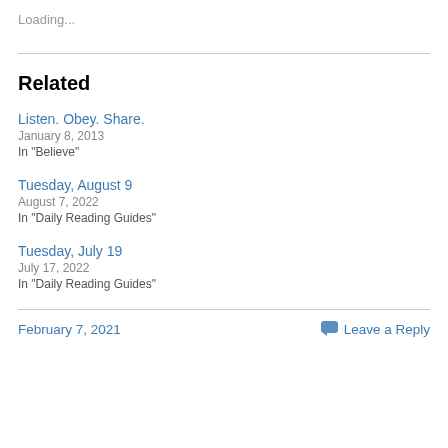Loading...
Related
Listen. Obey. Share.
January 8, 2013
In "Believe"
Tuesday, August 9
August 7, 2022
In "Daily Reading Guides"
Tuesday, July 19
July 17, 2022
In "Daily Reading Guides"
February 7, 2021
Leave a Reply